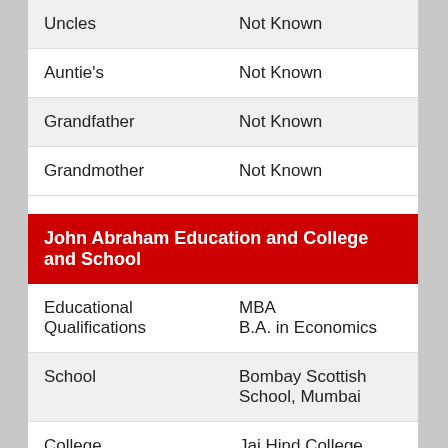| Field | Value |
| --- | --- |
| Uncles | Not Known |
| Auntie's | Not Known |
| Grandfather | Not Known |
| Grandmother | Not Known |
John Abraham Education and College and School
| Field | Value |
| --- | --- |
| Educational Qualifications | MBA
B.A. in Economics |
| School | Bombay Scottish School, Mumbai |
| College | Jai Hind College, Mumbai |
John Abraham Affairs and Marital Status and